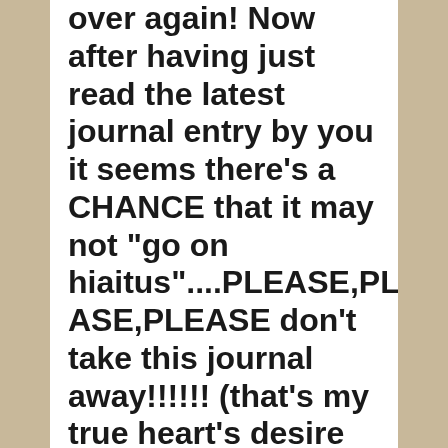over again! Now after having just read the latest journal entry by you it seems there's a CHANCE that it may not "go on hiaitus"....PLEASE,PLEASE,PLEASE don't take this journal away!!!!!! (that's my true heart's desire speaking...now my sensible brain part